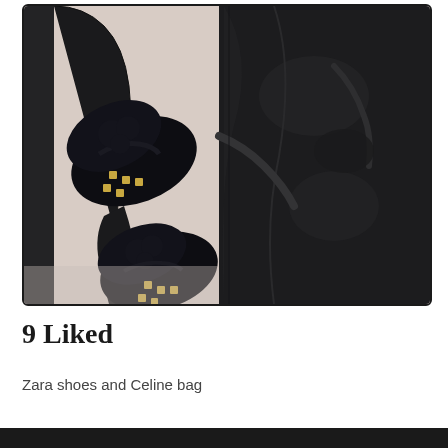[Figure (photo): Overhead view of two black studded loafer shoes worn with black tights/socks, next to a large black leather Celine bag, photographed against a light pink/cream background. The shoes have gold stud embellishments.]
9 Liked
Zara shoes and Celine bag
[Figure (photo): Partial view of another photo at the bottom of the page, appears dark/black in color.]